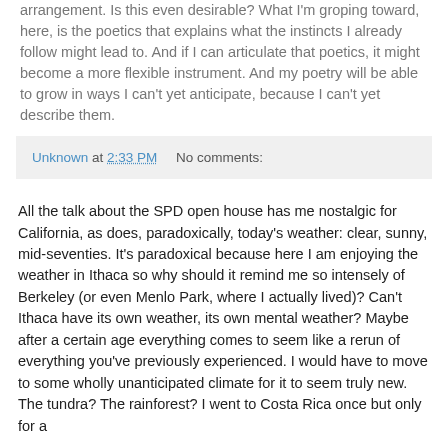arrangement. Is this even desirable? What I'm groping toward, here, is the poetics that explains what the instincts I already follow might lead to. And if I can articulate that poetics, it might become a more flexible instrument. And my poetry will be able to grow in ways I can't yet anticipate, because I can't yet describe them.
Unknown at 2:33 PM    No comments:
All the talk about the SPD open house has me nostalgic for California, as does, paradoxically, today's weather: clear, sunny, mid-seventies. It's paradoxical because here I am enjoying the weather in Ithaca so why should it remind me so intensely of Berkeley (or even Menlo Park, where I actually lived)? Can't Ithaca have its own weather, its own mental weather? Maybe after a certain age everything comes to seem like a rerun of everything you've previously experienced. I would have to move to some wholly unanticipated climate for it to seem truly new. The tundra? The rainforest? I went to Costa Rica once but only for a